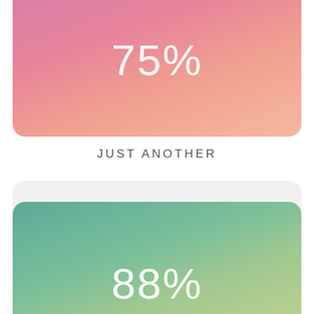[Figure (infographic): Pink-to-salmon gradient card showing '75%' in large white thin font]
JUST ANOTHER
[Figure (infographic): Teal-to-sage gradient card showing '88%' in large white thin font, partially visible at bottom]